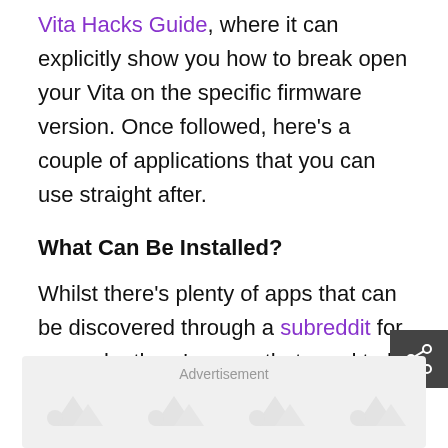Vita Hacks Guide, where it can explicitly show you how to break open your Vita on the specific firmware version. Once followed, here's a couple of applications that you can use straight after.
What Can Be Installed?
Whilst there's plenty of apps that can be discovered through a subreddit for example, there's some that need to be explained in further detail. First of all, the PS Vita can play N64 games, and can play them surprisingly well.
Advertisement